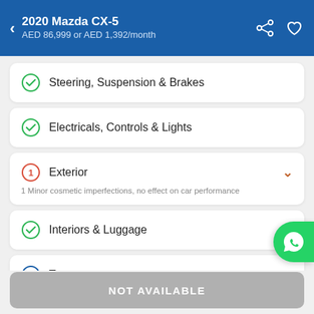2020 Mazda CX-5 — AED 86,999 or AED 1,392/month
Steering, Suspension & Brakes
Electricals, Controls & Lights
Exterior (1 issue) — 1 Minor cosmetic imperfections, no effect on car performance
Interiors & Luggage
Tyres
NOT AVAILABLE